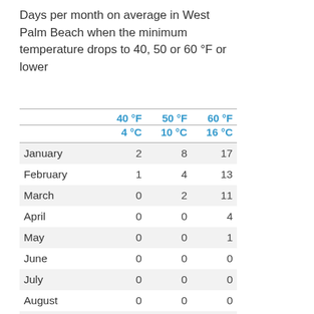Days per month on average in West Palm Beach when the minimum temperature drops to 40, 50 or 60 °F or lower
|  | 40 °F / 4 °C | 50 °F / 10 °C | 60 °F / 16 °C |
| --- | --- | --- | --- |
| January | 2 | 8 | 17 |
| February | 1 | 4 | 13 |
| March | 0 | 2 | 11 |
| April | 0 | 0 | 4 |
| May | 0 | 0 | 1 |
| June | 0 | 0 | 0 |
| July | 0 | 0 | 0 |
| August | 0 | 0 | 0 |
| September | 0 | 0 | 0 |
| October | 0 | 0 | 1 |